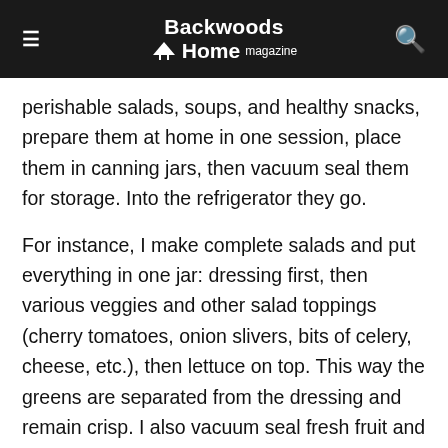Backwoods Home magazine
perishable salads, soups, and healthy snacks, prepare them at home in one session, place them in canning jars, then vacuum seal them for storage. Into the refrigerator they go.
For instance, I make complete salads and put everything in one jar: dressing first, then various veggies and other salad toppings (cherry tomatoes, onion slivers, bits of celery, cheese, etc.), then lettuce on top. This way the greens are separated from the dressing and remain crisp. I also vacuum seal fresh fruit and veggie crudités, so when my daughter Ella opens the fridge and sees all the pretty jars of pretty food, it's an easy choice for her to pick something healthy rather than a cookie or a bag of chips.
But there's more to this story: By using the jar sealer to store